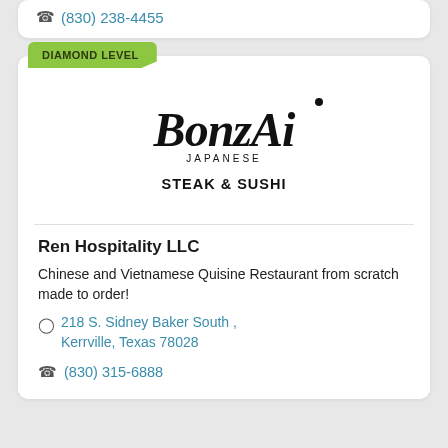(830) 238-4455
[Figure (logo): Bonzai Japanese Steak & Sushi logo with stylized script lettering and tagline]
Ren Hospitality LLC
Chinese and Vietnamese Quisine Restaurant from scratch made to order!
218 S. Sidney Baker South , Kerrville, Texas 78028
(830) 315-6888